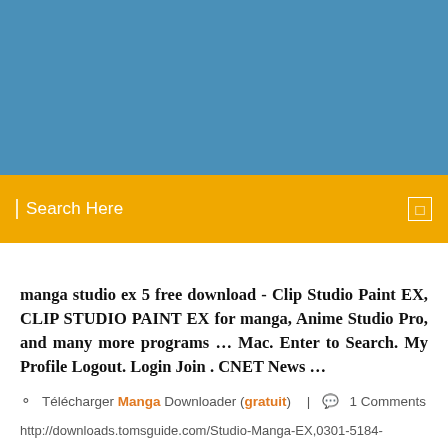[Figure (other): Blue banner header background]
Search Here
manga studio ex 5 free download - Clip Studio Paint EX, CLIP STUDIO PAINT EX for manga, Anime Studio Pro, and many more programs … Mac. Enter to Search. My Profile Logout. Login Join . CNET News …
Télécharger Manga Downloader (gratuit)  |  1 Comments
http://downloads.tomsguide.com/Studio-Manga-EX,0301-5184-